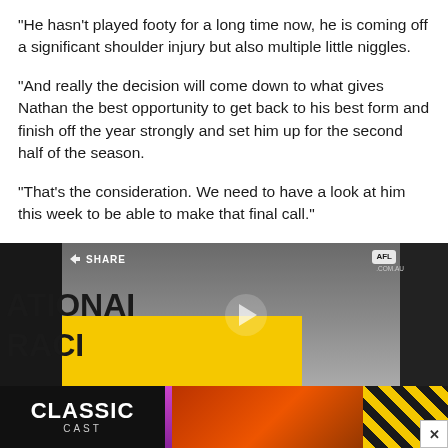"He hasn't played footy for a long time now, he is coming off a significant shoulder injury but also multiple little niggles.

"And really the decision will come down to what gives Nathan the best opportunity to get back to his best form and finish off the year strongly and set him up for the second half of the season.

"That's the consideration. We need to have a look at him this week to be able to make that final call."
[Figure (screenshot): Video player thumbnail showing a man in a dark shirt standing in front of a yellow wall with partial text 'NATIONAL' and 'RAGE' visible. A play button is overlaid. AFL logo appears top right. A SHARE button appears top left.]
[Figure (photo): Advertisement banner showing 'CLASSIC CAST' text on dark background with purple divider and sports action photo with yellow/black striped graphic.]